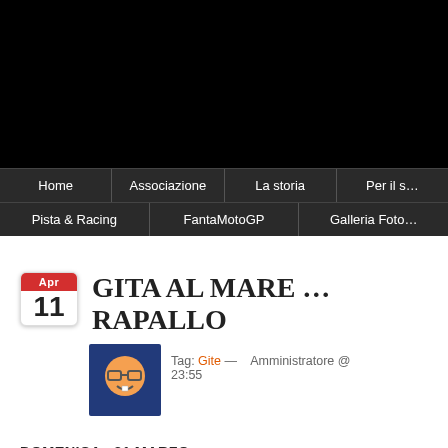[Figure (screenshot): Black background area at the top of the page, representing an image banner area]
Home | Associazione | La storia | Per il s... | Pista & Racing | FantaMotoGP | Galleria Foto...
GITA AL MARE … RAPALLO
Tag: Gite — Amministratore @ 23:55
DOMENICA  31 MARZO
IL GRUPPO ZONA ROSSA HA ORGANIZZATO UNA GITA A RAPALLO . LA MATTINATA E' FRESCA ,MA